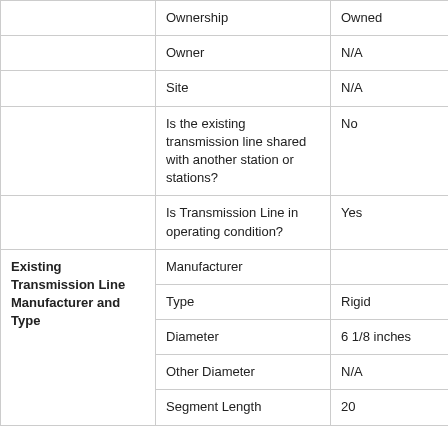|  | Field | Value |
| --- | --- | --- |
|  | Ownership | Owned |
|  | Owner | N/A |
|  | Site | N/A |
|  | Is the existing transmission line shared with another station or stations? | No |
|  | Is Transmission Line in operating condition? | Yes |
| Existing Transmission Line Manufacturer and Type | Manufacturer |  |
|  | Type | Rigid |
|  | Diameter | 6 1/8 inches |
|  | Other Diameter | N/A |
|  | Segment Length | 20 |